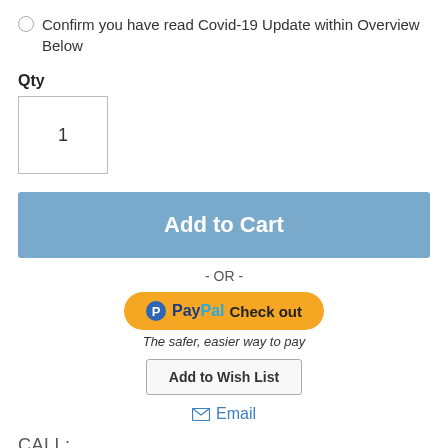Confirm you have read Covid-19 Update within Overview Below
Qty
1
[Figure (other): Add to Cart button - blue/steel colored rectangular button with white bold text]
- OR -
[Figure (other): PayPal Check out button - yellow rounded button with PayPal logo and text 'Check out']
The safer, easier way to pay
[Figure (other): Add to Wish List button - light grey bordered rectangular button]
Email
CALL:
Lynneve Benbridges on 028486 63333